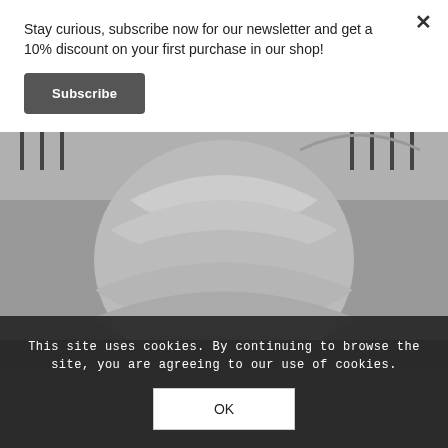Stay curious, subscribe now for our newsletter and get a 10% discount on your first purchase in our shop!
Subscribe
[Figure (photo): Grayscale photograph showing a large sculptural or costume dress form made of layered crumpled fabric panels, photographed outdoors near iron railings and stone architecture.]
This site uses cookies. By continuing to browse the site, you are agreeing to our use of cookies.
OK